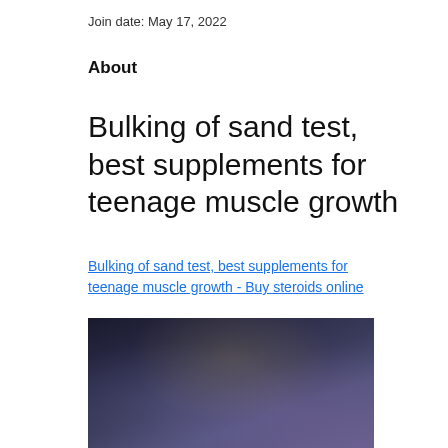Join date: May 17, 2022
About
Bulking of sand test, best supplements for teenage muscle growth
Bulking of sand test, best supplements for teenage muscle growth - Buy steroids online
[Figure (photo): Dark blurred image, likely a product or supplement photo with dark background and indistinct shapes]